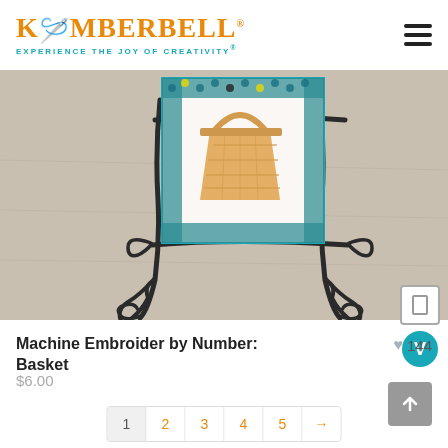KIMBERBELL - EXPERIENCE THE JOY OF CREATIVITY®
[Figure (photo): A decorative embroidery project showing a basket design on fabric with teal hexagonal pattern border, displayed on a dark ornate metal easel stand on a light wood surface.]
Machine Embroider by Number: Basket
♥ 144
$6.00
1  2  3  4  5  →